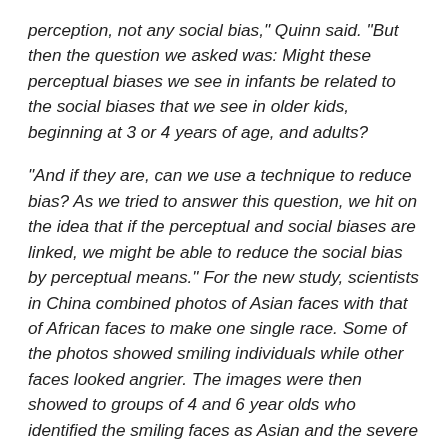perception, not any social bias," Quinn said. "But then the question we asked was: Might these perceptual biases we see in infants be related to the social biases that we see in older kids, beginning at 3 or 4 years of age, and adults?
"And if they are, can we use a technique to reduce bias? As we tried to answer this question, we hit on the idea that if the perceptual and social biases are linked, we might be able to reduce the social bias by perceptual means." For the new study, scientists in China combined photos of Asian faces with that of African faces to make one single race. Some of the photos showed smiling individuals while other faces looked angrier. The images were then showed to groups of 4 and 6 year olds who identified the smiling faces as Asian and the severe faces as African, a group of people they were not used to seeing….